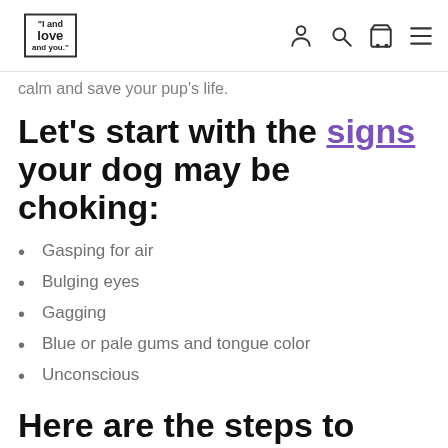"I and love and you" logo and navigation icons
calm and save your pup's life.
Let's start with the signs your dog may be choking:
Gasping for air
Bulging eyes
Gagging
Blue or pale gums and tongue color
Unconscious
Here are the steps to follow if you think your dog may be choking: